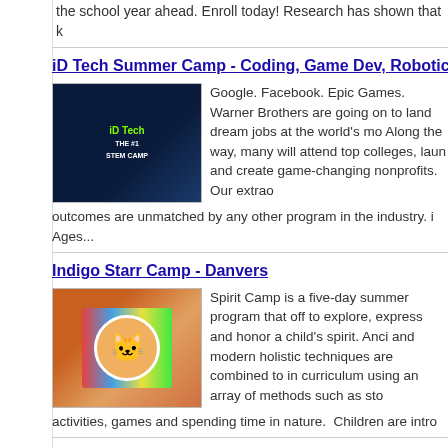the school year ahead. Enroll today! Research has shown that k
iD Tech Summer Camp - Coding, Game Dev, Robotic
[Figure (photo): iD Tech - The #1 STEM Camp promotional image with a person in winter gear and camp branding]
Google. Facebook. Epic Games. Warner Brothers are going on to land dream jobs at the world's mo Along the way, many will attend top colleges, laun and create game-changing nonprofits. Our extrao outcomes are unmatched by any other program in the industry. i Ages...
Indigo Starr Camp - Danvers
[Figure (photo): Indigo Starr Camp colorful arts and crafts image with a cat and colorful quilts or fabric]
Spirit Camp is a five-day summer program that off to explore, express and honor a child's spirit. Anci and modern holistic techniques are combined to in curriculum using an array of methods such as sto activities, games and spending time in nature.  Children are intro
International Ballet Summer Workshop - Estonia
[Figure (photo): International Ballet Summer Workshop Estonia promotional image showing ballet dancers and Estonian Opera building]
Young Dancer Ballet Intensive Programme 2020 h 9th in the Estonian National Opera. Open to balle 15 years of age and students from professional sc private. This program is designed for young dance challenging summer dance experience, guaranteed to improve t